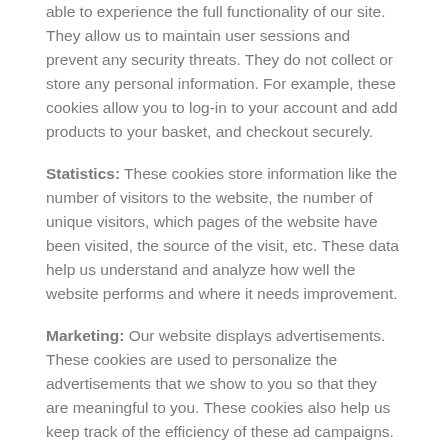able to experience the full functionality of our site. They allow us to maintain user sessions and prevent any security threats. They do not collect or store any personal information. For example, these cookies allow you to log-in to your account and add products to your basket, and checkout securely.
Statistics: These cookies store information like the number of visitors to the website, the number of unique visitors, which pages of the website have been visited, the source of the visit, etc. These data help us understand and analyze how well the website performs and where it needs improvement.
Marketing: Our website displays advertisements. These cookies are used to personalize the advertisements that we show to you so that they are meaningful to you. These cookies also help us keep track of the efficiency of these ad campaigns. The information stored in these cookies may also be